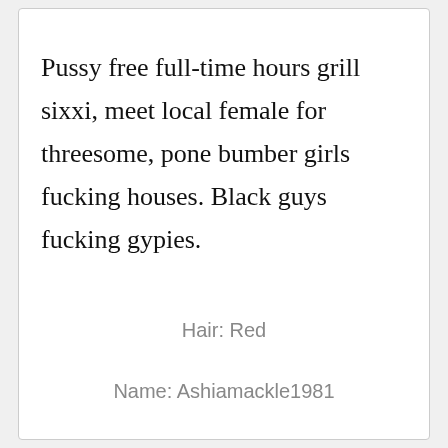Pussy free full-time hours grill sixxi, meet local female for threesome, pone bumber girls fucking houses. Black guys fucking gypies.
Hair: Red
Name: Ashiamackle1981
Body: Athletic